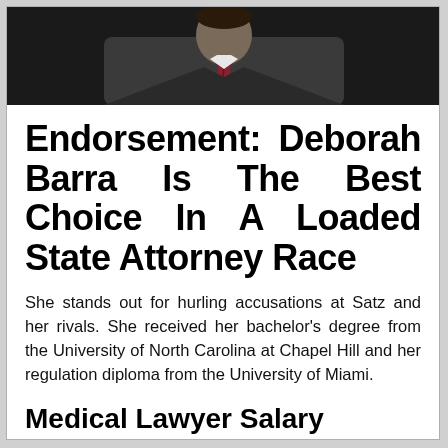[Figure (photo): Black and white photo of a man in a suit and tie, cropped to show upper body and face]
Endorsement: Deborah Barra Is The Best Choice In A Loaded State Attorney Race
She stands out for hurling accusations at Satz and her rivals. She received her bachelor's degree from the University of North Carolina at Chapel Hill and her regulation diploma from the University of Miami.
Medical Lawyer Salary
Working beneath the path and supervision of the